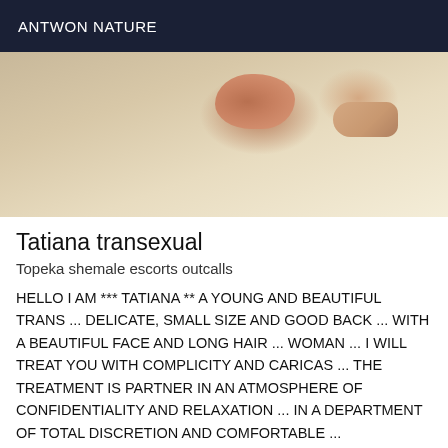ANTWON NATURE
[Figure (photo): Close-up photo of a person's hand and arm resting on a white surface/bedsheet]
Tatiana transexual
Topeka shemale escorts outcalls
HELLO I AM *** TATIANA ** A YOUNG AND BEAUTIFUL TRANS ... DELICATE, SMALL SIZE AND GOOD BACK ... WITH A BEAUTIFUL FACE AND LONG HAIR ... WOMAN ... I WILL TREAT YOU WITH COMPLICITY AND CARICAS ... THE TREATMENT IS PARTNER IN AN ATMOSPHERE OF CONFIDENTIALITY AND RELAXATION ... IN A DEPARTMENT OF TOTAL DISCRETION AND COMFORTABLE ...